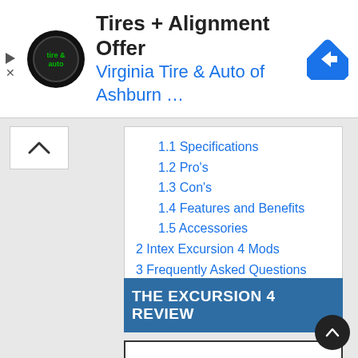[Figure (screenshot): Advertisement banner for Virginia Tire & Auto of Ashburn showing logo, title 'Tires + Alignment Offer', subtitle 'Virginia Tire & Auto of Ashburn …', and a blue navigation arrow icon]
1.1 Specifications
1.2 Pro's
1.3 Con's
1.4 Features and Benefits
1.5 Accessories
2 Intex Excursion 4 Mods
3 Frequently Asked Questions
4 Overall Review
THE EXCURSION 4 REVIEW